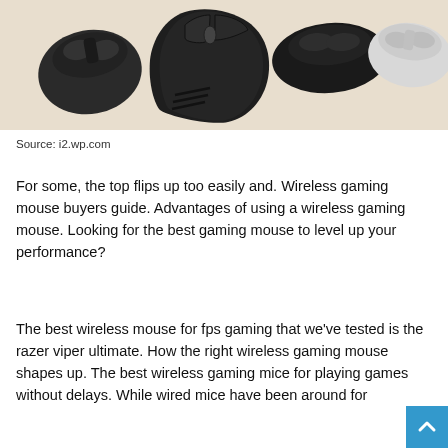[Figure (photo): Multiple gaming mice arranged on a light beige surface. Includes black angular gaming mice and one white mouse.]
Source: i2.wp.com
For some, the top flips up too easily and. Wireless gaming mouse buyers guide. Advantages of using a wireless gaming mouse. Looking for the best gaming mouse to level up your performance?
The best wireless mouse for fps gaming that we've tested is the razer viper ultimate. How the right wireless gaming mouse shapes up. The best wireless gaming mice for playing games without delays. While wired mice have been around for